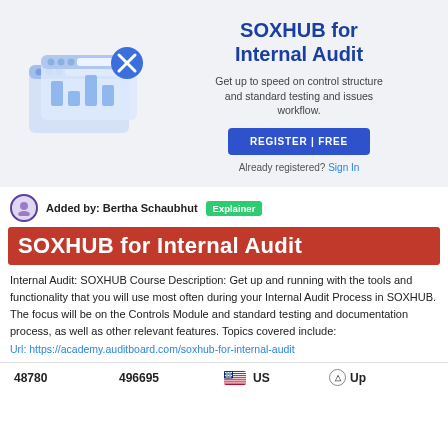[Figure (illustration): Software/web application illustration with browser windows, a blue X button, and a bar chart icon, in light blue tones on a light grey background]
SOXHUB for Internal Audit
Get up to speed on control structure and standard testing and issues workflow.
REGISTER | FREE
Already registered? Sign In
Added by: Bertha Schaubhut  Explainer
SOXHUB for Internal Audit
Internal Audit: SOXHUB Course Description: Get up and running with the tools and functionality that you will use most often during your Internal Audit Process in SOXHUB. The focus will be on the Controls Module and standard testing and documentation process, as well as other relevant features. Topics covered include:
Url: https://academy.auditboard.com/soxhub-for-internal-audit
48780     496695     US     Up